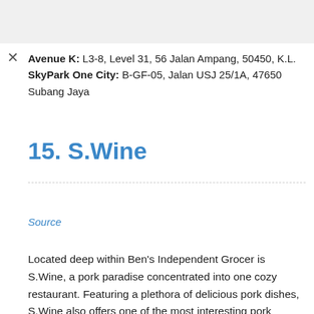Avenue K: L3-8, Level 31, 56 Jalan Ampang, 50450, K.L.
SkyPark One City: B-GF-05, Jalan USJ 25/1A, 47650 Subang Jaya
15. S.Wine
Source
Located deep within Ben's Independent Grocer is S.Wine, a pork paradise concentrated into one cozy restaurant. Featuring a plethora of delicious pork dishes, S.Wine also offers one of the most interesting pork burgers that makes you realize your reason for living. Combining a generous serving